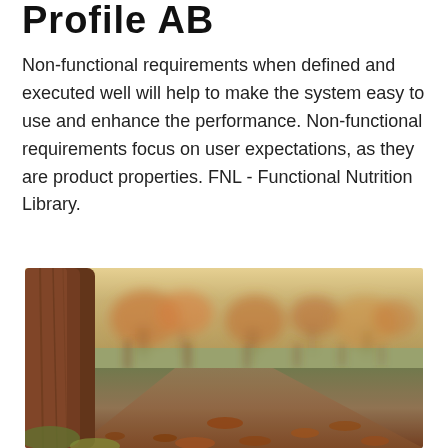Profile AB
Non-functional requirements when defined and executed well will help to make the system easy to use and enhance the performance. Non-functional requirements focus on user expectations, as they are product properties. FNL - Functional Nutrition Library.
[Figure (photo): Autumn park scene with a large tree trunk on the left, a dirt path in the foreground covered with fallen leaves, green grass on the sides, and blurred trees with warm autumn foliage in the background under a hazy sky.]